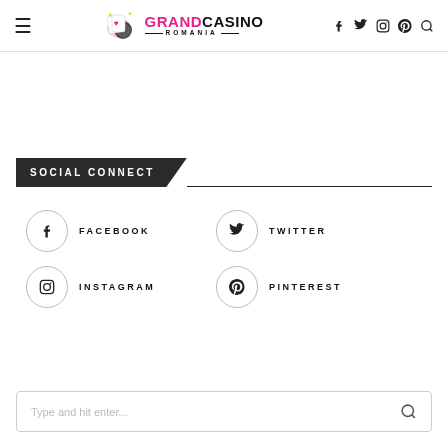Grand Casino Romania - header with navigation and social icons
SOCIAL CONNECT
FACEBOOK
TWITTER
INSTAGRAM
PINTEREST
Type and hit enter...